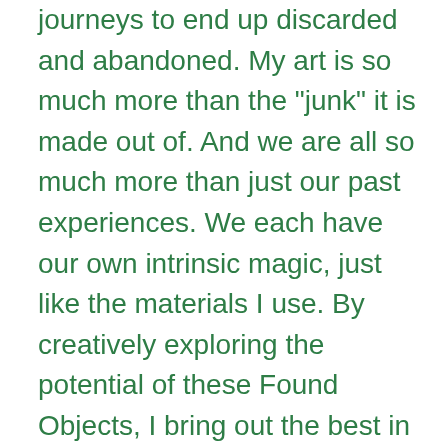journeys to end up discarded and abandoned. My art is so much more than the "junk" it is made out of. And we are all so much more than just our past experiences. We each have our own intrinsic magic, just like the materials I use. By creatively exploring the potential of these Found Objects, I bring out the best in them and they in turn bring out the best in me. I hope to inspire, uplift and reaffirm to others that we can all have more than one significant role and purpose. The dull, lifeless materials I find discarded in the streets are a constant reminder that second chances are always possible. And by bringing our brokenness together to